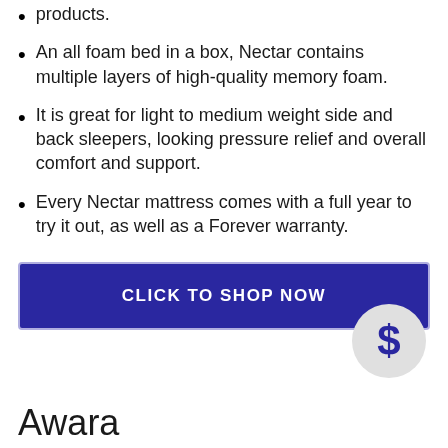products.
An all foam bed in a box, Nectar contains multiple layers of high-quality memory foam.
It is great for light to medium weight side and back sleepers, looking pressure relief and overall comfort and support.
Every Nectar mattress comes with a full year to try it out, as well as a Forever warranty.
CLICK TO SHOP NOW
Awara